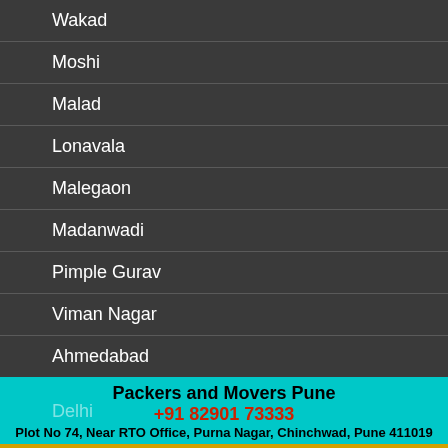Wakad
Moshi
Malad
Lonavala
Malegaon
Madanwadi
Pimple Gurav
Viman Nagar
Ahmedabad
Packers and Movers Pune
+91 82901 73333
Plot No 74, Near RTO Office, Purna Nagar, Chinchwad, Pune 411019
Delhi
Packers and Movers Pune
+91 82901 73333
Jawalkar Nagar Pimple Gurav, Near By Kalapatru Society
Kolkata
Chennai